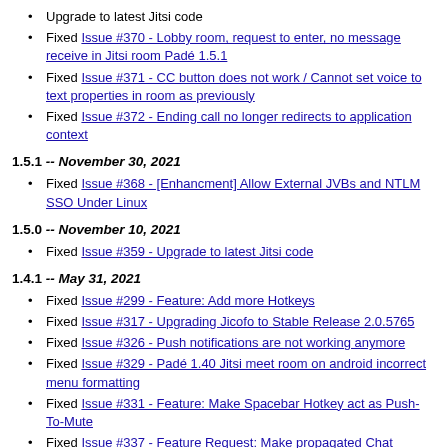Upgrade to latest Jitsi code
Fixed Issue #370 - Lobby room, request to enter, no message receive in Jitsi room Padé 1.5.1
Fixed Issue #371 - CC button does not work / Cannot set voice to text properties in room as previously
Fixed Issue #372 - Ending call no longer redirects to application context
1.5.1 -- November 30, 2021
Fixed Issue #368 - [Enhancment] Allow External JVBs and NTLM SSO Under Linux
1.5.0 -- November 10, 2021
Fixed Issue #359 - Upgrade to latest Jitsi code
1.4.1 -- May 31, 2021
Fixed Issue #299 - Feature: Add more Hotkeys
Fixed Issue #317 - Upgrading Jicofo to Stable Release 2.0.5765
Fixed Issue #326 - Push notifications are not working anymore
Fixed Issue #329 - Padé 1.40 Jitsi meet room on android incorrect menu formatting
Fixed Issue #331 - Feature: Make Spacebar Hotkey act as Push-To-Mute
Fixed Issue #337 - Feature Request: Make propagated Chat Messages by Conference Captions become Auto-Cleared
Fixed Issue #340 - Make the toolbar on mobile (browser) only have a few options and scrollable/swipable for more
Fixed Issue #344 - Jitsi voice transcription to text / Enhancement or